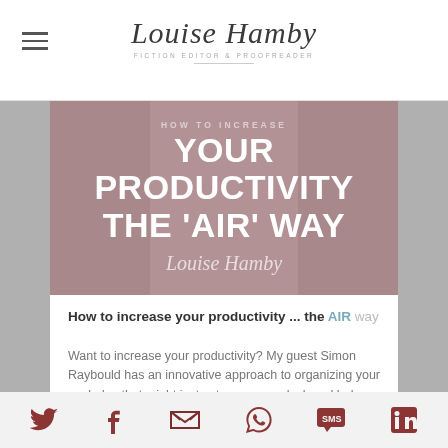Louise Hamby – Fiction Editor & Proofreader
[Figure (illustration): Hero banner image with mauve/dusty pink overlay. Text reads: YOUR PRODUCTIVITY THE 'AIR' WAY with Louise Hamby signature script below. Dark floral/plant photos visible on sides.]
How to increase your productivity ... the AIR way
Want to increase your productivity? My guest Simon Raybould has an innovative approach to organizing your work day that might just cut you some slack and help you get more done. Over to Simon ...
Go to the post
Social sharing icons: Twitter, Facebook, Email, WhatsApp, SMS, LinkedIn